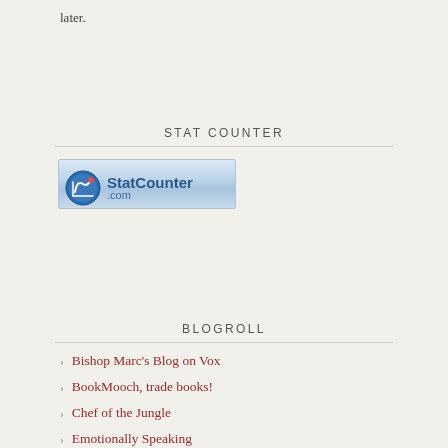later.
STAT COUNTER
[Figure (logo): StatCounter.com logo badge — blue gradient background with StatCounter icon and text]
BLOGROLL
Bishop Marc's Blog on Vox
BookMooch, trade books!
Chef of the Jungle
Emotionally Speaking
Global Dashboard